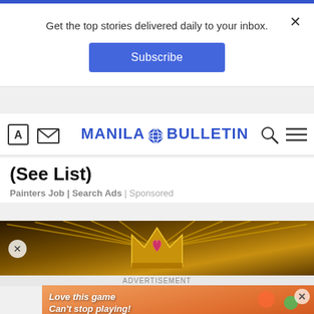Get the top stories delivered daily to your inbox.
Subscribe
[Figure (screenshot): Manila Bulletin website navigation bar with logo, search icon, and menu icon]
(See List)
Painters Job | Search Ads | Sponsored
[Figure (photo): Advertisement banner showing golden crown with decorative rays on dark background]
[Figure (photo): Mobile game advertisement with text 'Love this game Can't stop playing!' and 'Download Now' button, Bubble Shooter Animal World branding]